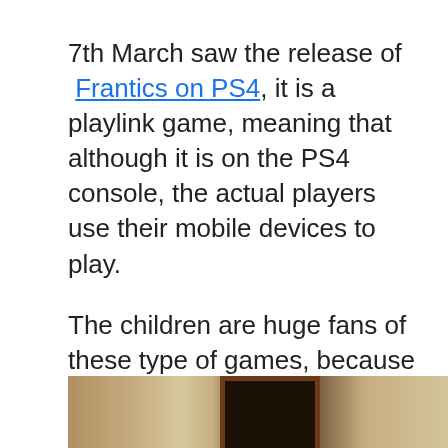7th March saw the release of Frantics on PS4, it is a playlink game, meaning that although it is on the PS4 console, the actual players use their mobile devices to play.
The children are huge fans of these type of games, because they can sit dotted around the room and not have to worry about the PS4 controllers running out of charge, instead they need to make sure their mobile devices are !
[Figure (photo): A partial photograph visible at the bottom of the page showing an indoor room scene with what appears to be a mirror or framed object and beige/tan wall colours.]